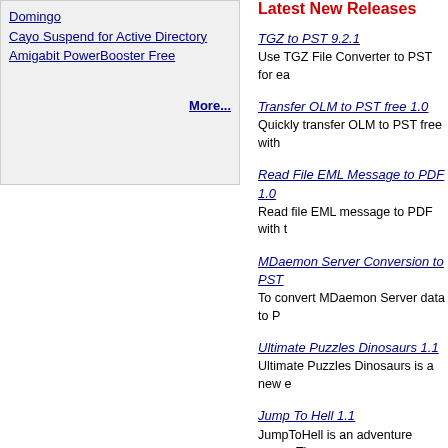Domingo
Cayo Suspend for Active Directory
Amigabit PowerBooster Free
More...
Latest New Releases
TGZ to PST 9.2.1 - Use TGZ File Converter to PST for ea
Transfer OLM to PST free 1.0 - Quickly transfer OLM to PST free with
Read File EML Message to PDF 1.0 - Read file EML message to PDF with t
MDaemon Server Conversion to PST - To convert MDaemon Server data to P
Ultimate Puzzles Dinosaurs 1.1 - Ultimate Puzzles Dinosaurs is a new e
Jump To Hell 1.1 - JumpToHell is an adventure game. Th
Abyss Jumper 1.9 - Abyss Jumper is a simple arcade plat
Dirt Rally Driver HD 4.7 - Dirt Rally Driver HD is a new rally race
Super LOH 2.4 - Plunge into an incredible atmosphere
DWG to PDF Converter